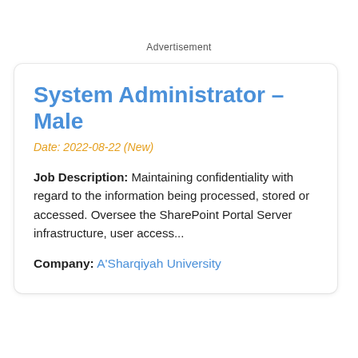Advertisement
System Administrator – Male
Date: 2022-08-22 (New)
Job Description: Maintaining confidentiality with regard to the information being processed, stored or accessed. Oversee the SharePoint Portal Server infrastructure, user access...
Company: A'Sharqiyah University